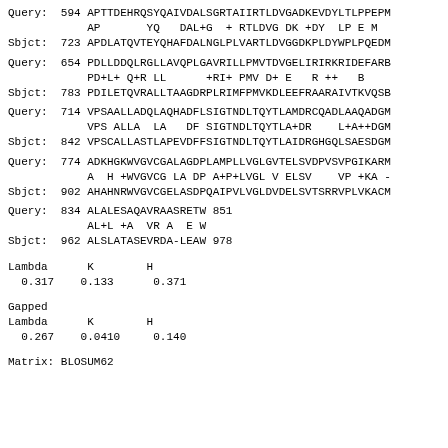Query:  594 APTTDEHRQSYQAIVDALSGRTAIIRTLDVGADKEVDYLTLPPEPM
            AP       YQ   DAL+G  + RTLDVG DK +DY  LP E M
Sbjct:  723 APDLATQVTEYQHAFDALNGLPLVARTLDVGGDKPLDYWPLPQEDM
Query:  654 PDLLDDQLRGLLAVQPLGAVRILLPMVTDVGELIRIRKRIDEFARB
            PD+L+ Q+R LL      +RI+ PMV D+ E   R ++   B
Sbjct:  783 PDILETQVRALLTAAGDRPLRIMFPMVKDLEEFRAARAIVTKVQSB
Query:  714 VPSAALLADQLAQHADFLSIGTNDLTQYTLAMDRCQADLAAQADGM
            VPS ALLA  LA   DF SIGTNDLTQYTLA+DR    L+A++DGM
Sbjct:  842 VPSCALLASTLAPEVDFFSIGTNDLTQYTLAIDRGHGQLSAESDGM
Query:  774 ADKHGKWVGVCGALAGDPLAMPLLVGLGVTELSVDPVSVPGIKARM
            A  H +WVGVCG LA DP A+P+LVGL V ELSV    VP +KA -
Sbjct:  902 AHAHNRWVGVCGELASDPQAIPVLVGLDVDELSVTSRRVPLVKACM
Query:  834 ALALESAQAVRAASRETW 851
            AL+L +A  VR A  E W
Sbjct:  962 ALSLATASEVRDA-LEAW 978
Lambda      K        H
  0.317    0.133      0.371
Gapped
Lambda      K        H
  0.267    0.0410     0.140
Matrix: BLOSUM62